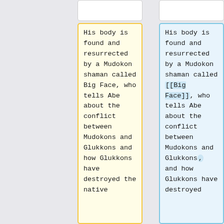His body is found and resurrected by a Mudokon shaman called Big Face, who tells Abe about the conflict between Mudokons and Glukkons and how Glukkons have destroyed the native
His body is found and resurrected by a Mudokon shaman called [[Big Face]], who tells Abe about the conflict between Mudokons and Glukkons, and how Glukkons have destroyed